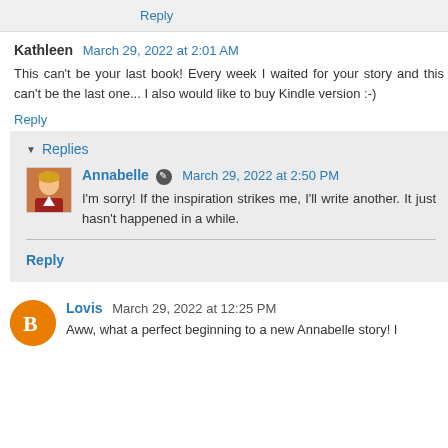Reply
Kathleen  March 29, 2022 at 2:01 AM
This can't be your last book! Every week I waited for your story and this can't be the last one... I also would like to buy Kindle version :-)
Reply
Replies
Annabelle  March 29, 2022 at 2:50 PM
I'm sorry! If the inspiration strikes me, I'll write another. It just hasn't happened in a while.
Reply
Lovis  March 29, 2022 at 12:25 PM
Aww, what a perfect beginning to a new Annabelle story! I